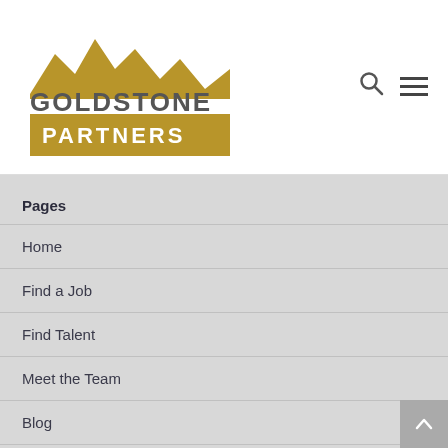[Figure (logo): Goldstone Partners logo with mountain silhouette in gold/yellow above 'GOLDSTONE' text in gray and 'PARTNERS' in white on gold background rectangle]
Pages
Home
Find a Job
Find Talent
Meet the Team
Blog
Coaching